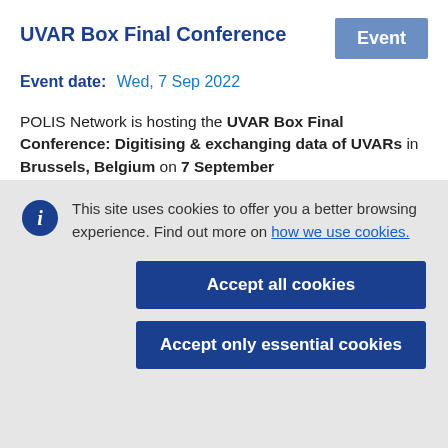UVAR Box Final Conference
Event date:   Wed, 7 Sep 2022
POLIS Network is hosting the UVAR Box Final Conference: Digitising & exchanging data of UVARs in Brussels, Belgium on 7 September
This site uses cookies to offer you a better browsing experience. Find out more on how we use cookies.
Accept all cookies
Accept only essential cookies